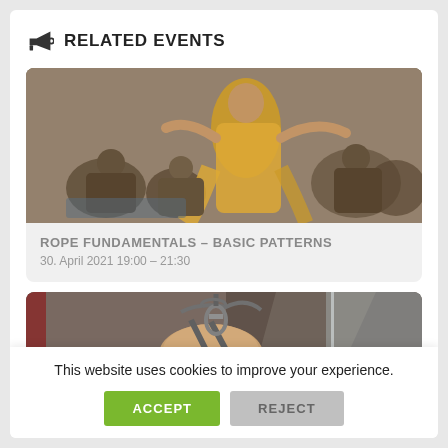RELATED EVENTS
[Figure (photo): People in a dance or movement workshop; a performer in a yellow outfit is prominent in the foreground, with seated participants in the background in a stone-walled room.]
ROPE FUNDAMENTALS - BASIC PATTERNS
30. April 2021 19:00 - 21:30
[Figure (photo): Close-up of a wooden block and metal rigging equipment, possibly an aerial or rope rigging setup, in a dimly lit room.]
This website uses cookies to improve your experience.